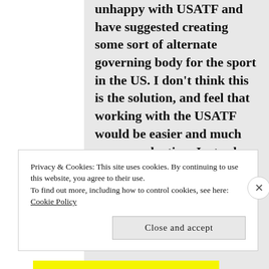unhappy with USATF and have suggested creating some sort of alternate governing body for the sport in the US. I don't think this is the solution, and feel that working with the USATF would be easier and much more productive. Just ask members of the US
Privacy & Cookies: This site uses cookies. By continuing to use this website, you agree to their use.
To find out more, including how to control cookies, see here: Cookie Policy
Close and accept